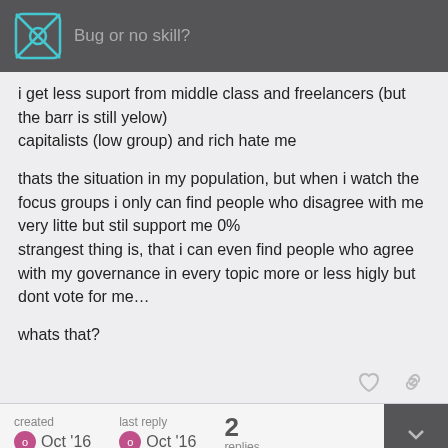Bug or no skill?
i get less suport from middle class and freelancers (but the barr is still yelow)
capitalists (low group) and rich hate me

thats the situation in my population, but when i watch the focus groups i only can find people who disagree with me very litte but stil support me 0%
strangest thing is, that i can even find people who agree with my governance in every topic more or less higly but dont vote for me...

whats that?
created Oct '16   last reply Oct '16   2 replies
Oberonia